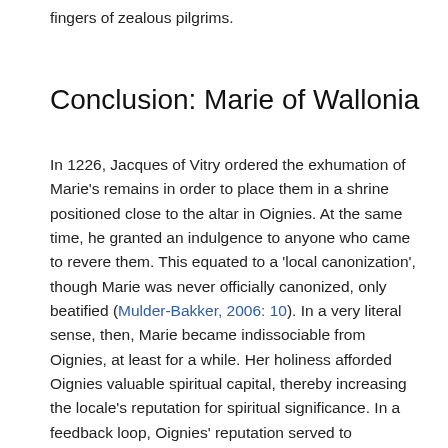fingers of zealous pilgrims.
Conclusion: Marie of Wallonia
In 1226, Jacques of Vitry ordered the exhumation of Marie's remains in order to place them in a shrine positioned close to the altar in Oignies. At the same time, he granted an indulgence to anyone who came to revere them. This equated to a 'local canonization', though Marie was never officially canonized, only beatified (Mulder-Bakker, 2006: 10). In a very literal sense, then, Marie became indissociable from Oignies, at least for a while. Her holiness afforded Oignies valuable spiritual capital, thereby increasing the locale's reputation for spiritual significance. In a feedback loop, Oignies' reputation served to underscore the exemplary piety of one of its own, Marie. Yet this loop was not unbreakable, nor unassailable. One effect of official canonization is to stabilise a saint's geographical affiliation, as the Church